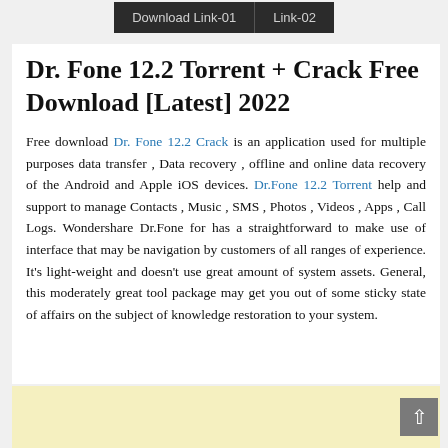Download Link-01   Link-02
Dr. Fone 12.2 Torrent + Crack Free Download [Latest] 2022
Free download Dr. Fone 12.2 Crack is an application used for multiple purposes data transfer , Data recovery , offline and online data recovery of the Android and Apple iOS devices. Dr.Fone 12.2 Torrent help and support to manage Contacts , Music , SMS , Photos , Videos , Apps , Call Logs. Wondershare Dr.Fone for has a straightforward to make use of interface that may be navigation by customers of all ranges of experience. It's light-weight and doesn't use great amount of system assets. General, this moderately great tool package may get you out of some sticky state of affairs on the subject of knowledge restoration to your system.
[Figure (other): Yellow advertisement banner at the bottom of the page]